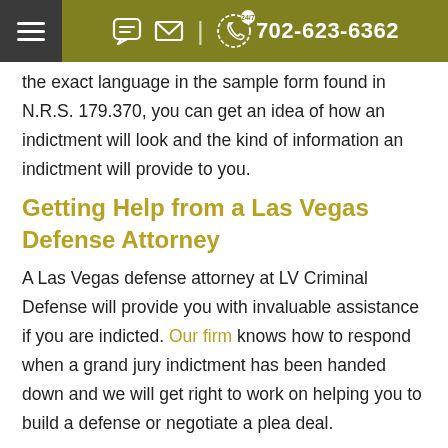702-623-6362
the exact language in the sample form found in N.R.S. 179.370, you can get an idea of how an indictment will look and the kind of information an indictment will provide to you.
Getting Help from a Las Vegas Defense Attorney
A Las Vegas defense attorney at LV Criminal Defense will provide you with invaluable assistance if you are indicted. Our firm knows how to respond when a grand jury indictment has been handed down and we will get right to work on helping you to build a defense or negotiate a plea deal.
You'll be doing indicted if you defense conceptions of